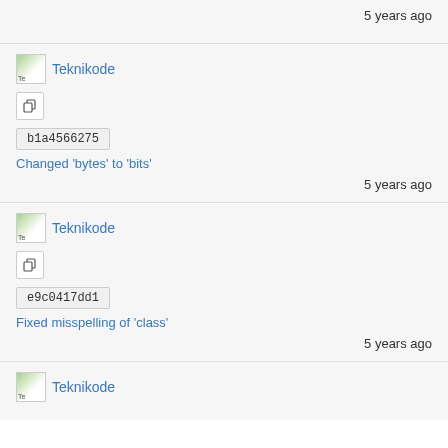5 years ago
Teknikode
b1a4566275
Changed 'bytes' to 'bits'
5 years ago
Teknikode
e9c0417dd1
Fixed misspelling of 'class'
5 years ago
Teknikode